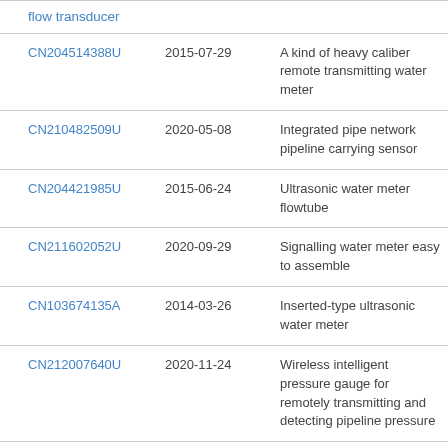| Patent | Date | Description |
| --- | --- | --- |
| CN204514388U | 2015-07-29 | A kind of heavy caliber remote transmitting water meter |
| CN210482509U | 2020-05-08 | Integrated pipe network pipeline carrying sensor |
| CN204421985U | 2015-06-24 | Ultrasonic water meter flowtube |
| CN211602052U | 2020-09-29 | Signalling water meter easy to assemble |
| CN103674135A | 2014-03-26 | Inserted-type ultrasonic water meter |
| CN212007640U | 2020-11-24 | Wireless intelligent pressure gauge for remotely transmitting and detecting pipeline pressure |
| CN203113443U | 2013-08-07 | Floor type faucet concealed installation case |
| CN202869353U | 2013-10-07 | Expandline... |